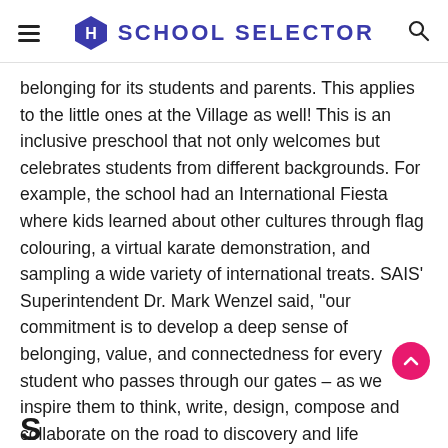SCHOOL SELECTOR
belonging for its students and parents. This applies to the little ones at the Village as well! This is an inclusive preschool that not only welcomes but celebrates students from different backgrounds. For example, the school had an International Fiesta where kids learned about other cultures through flag colouring, a virtual karate demonstration, and sampling a wide variety of international treats. SAIS' Superintendent Dr. Mark Wenzel said, “our commitment is to develop a deep sense of belonging, value, and connectedness for every student who passes through our gates – as we inspire them to think, write, design, compose and collaborate on the road to discovery and life success.”
Sсhool...